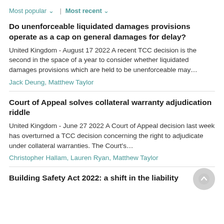Most popular ∨  |  Most recent ∨
Do unenforceable liquidated damages provisions operate as a cap on general damages for delay?
United Kingdom - August 17 2022 A recent TCC decision is the second in the space of a year to consider whether liquidated damages provisions which are held to be unenforceable may…
Jack Deung, Matthew Taylor
Court of Appeal solves collateral warranty adjudication riddle
United Kingdom - June 27 2022 A Court of Appeal decision last week has overturned a TCC decision concerning the right to adjudicate under collateral warranties. The Court's…
Christopher Hallam, Lauren Ryan, Matthew Taylor
Building Safety Act 2022: a shift in the liability